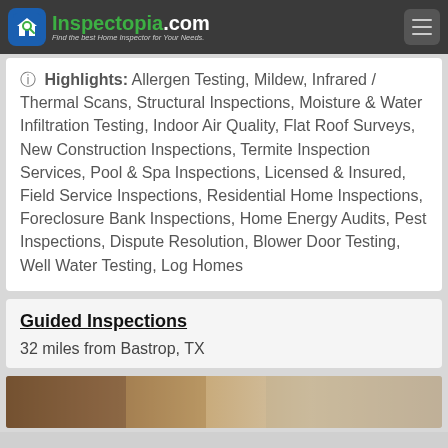Inspectopia.com — Find the best Home Inspector for Your Needs.
Highlights: Allergen Testing, Mildew, Infrared / Thermal Scans, Structural Inspections, Moisture & Water Infiltration Testing, Indoor Air Quality, Flat Roof Surveys, New Construction Inspections, Termite Inspection Services, Pool & Spa Inspections, Licensed & Insured, Field Service Inspections, Residential Home Inspections, Foreclosure Bank Inspections, Home Energy Audits, Pest Inspections, Dispute Resolution, Blower Door Testing, Well Water Testing, Log Homes
Guided Inspections
32 miles from Bastrop, TX
[Figure (photo): Photo of a home inspection scene — brownish surface texture visible]